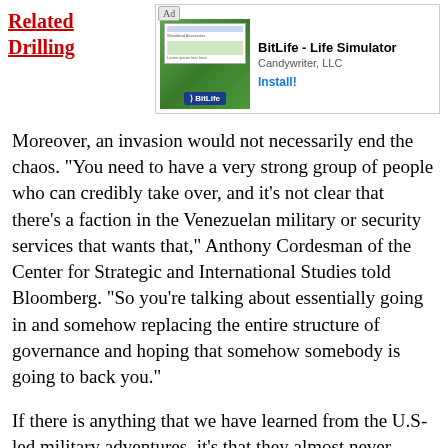Related
Drilling
[Figure (screenshot): Advertisement banner for BitLife - Life Simulator by Candywriter, LLC with an Install! button]
Moreover, an invasion would not necessarily end the chaos. “You need to have a very strong group of people who can credibly take over, and it’s not clear that there’s a faction in the Venezuelan military or security services that wants that,” Anthony Cordesman of the Center for Strategic and International Studies told Bloomberg. “So you’re talking about essentially going in and somehow replacing the entire structure of governance and hoping that somehow somebody is going to back you.”
If there is anything that we have learned from the U.S-led military adventures, it’s that they almost never result in the rosy forecasts that war planners put forth.
But, even absent an invasion or a coup, Venezuela’s oil production is heading south. Venezuela’s oil production fell